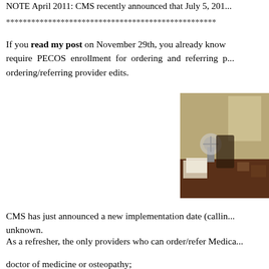NOTE April 2011: CMS recently announced that July 5, 201...
****************************************************
If you read my post on November 29th, you already know that CMS plans to require PECOS enrollment for ordering and referring providers with ordering/referring provider edits.
[Figure (photo): Photo of a desk with a small fan, papers, and office equipment in a dim room]
CMS has just announced a new implementation date (calling... unknown.
As a refresher, the only providers who can order/refer Medica...
doctor of medicine or osteopathy;